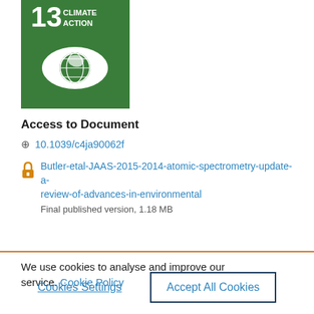[Figure (logo): UN Sustainable Development Goal 13 Climate Action icon — green square with white eye-globe symbol and text '13 CLIMATE ACTION']
Access to Document
10.1039/c4ja90062f
Butler-etal-JAAS-2015-2014-atomic-spectrometry-update-a-review-of-advances-in-environmental
Final published version, 1.18 MB
We use cookies to analyse and improve our service. Cookie Policy
Cookies Settings
Accept All Cookies